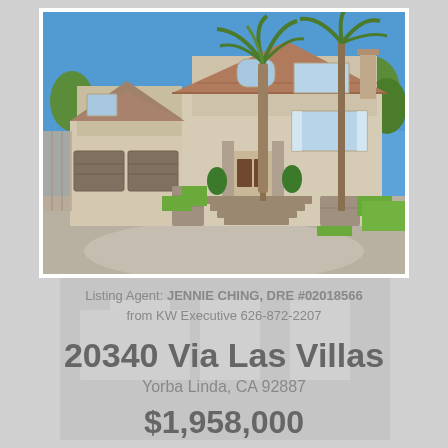[Figure (photo): Exterior photo of a large two-story Spanish-style home with tile roof, three-car garage, palm trees, stepped stone landscaping, and green lawn on a sunny day]
Listing Agent: JENNIE CHING, DRE #02018566
from KW Executive 626-872-2207
20340 Via Las Villas
Yorba Linda, CA 92887
$1,958,000